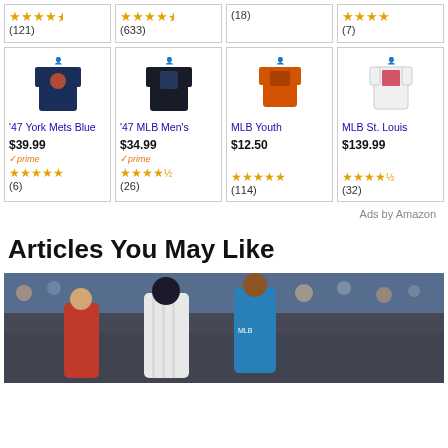[Figure (screenshot): Top partial row of Amazon product cards showing star ratings: (121), (633), (18), (7)]
[Figure (screenshot): Second row of Amazon product cards: '47 York Mets Blue $39.99 Prime ★★★★★ (6), '47 MLB Men's $34.99 Prime ★★★★½ (26), MLB Youth $12.50 ★★★★★ (114), MLB St. Louis $139.99 ★★★★½ (32)]
Ads by Amazon
Articles You May Like
[Figure (photo): Baseball player with trainer or coach on field, crowd in background]